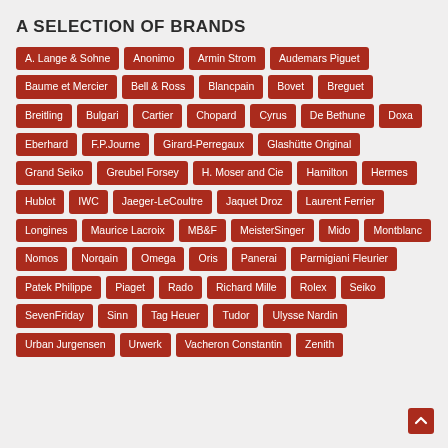A SELECTION OF BRANDS
A. Lange & Sohne
Anonimo
Armin Strom
Audemars Piguet
Baume et Mercier
Bell & Ross
Blancpain
Bovet
Breguet
Breitling
Bulgari
Cartier
Chopard
Cyrus
De Bethune
Doxa
Eberhard
F.P.Journe
Girard-Perregaux
Glashütte Original
Grand Seiko
Greubel Forsey
H. Moser and Cie
Hamilton
Hermes
Hublot
IWC
Jaeger-LeCoultre
Jaquet Droz
Laurent Ferrier
Longines
Maurice Lacroix
MB&F
MeisterSinger
Mido
Montblanc
Nomos
Norqain
Omega
Oris
Panerai
Parmigiani Fleurier
Patek Philippe
Piaget
Rado
Richard Mille
Rolex
Seiko
SevenFriday
Sinn
Tag Heuer
Tudor
Ulysse Nardin
Urban Jurgensen
Urwerk
Vacheron Constantin
Zenith